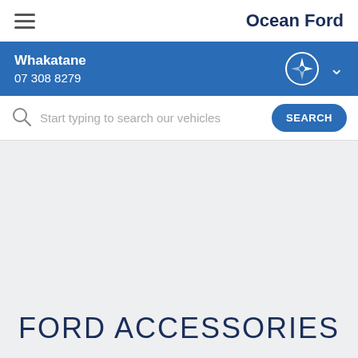Ocean Ford
Whakatane
07 308 8279
Start typing to search our vehicles
FORD ACCESSORIES